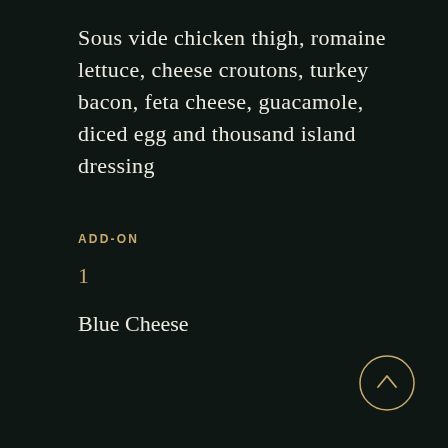Sous vide chicken thigh, romaine lettuce, cheese croutons, turkey bacon, feta cheese, guacamole, diced egg and thousand island dressing
ADD-ON
1
Blue Cheese